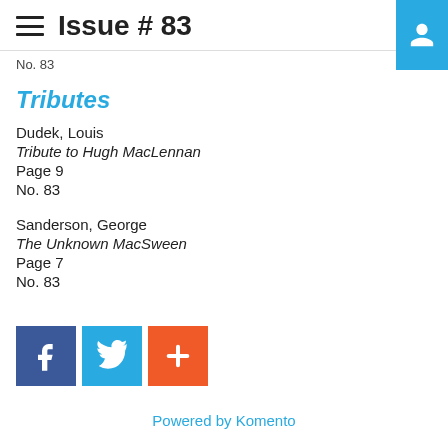Issue # 83
No. 83
Tributes
Dudek, Louis
Tribute to Hugh MacLennan
Page 9
No. 83
Sanderson, George
The Unknown MacSween
Page 7
No. 83
[Figure (infographic): Social share buttons: Facebook (blue), Twitter (light blue), and a plus/share button (orange-red)]
Powered by Komento